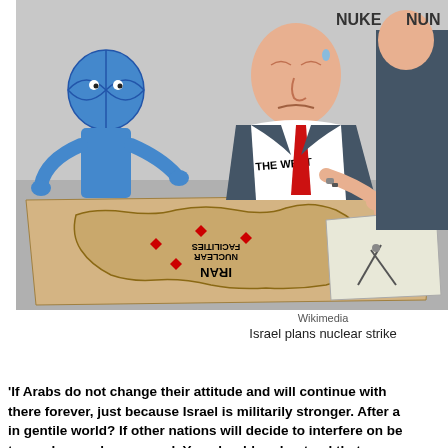[Figure (illustration): Political cartoon showing figures labeled 'The West' looking at a map of Iran Nuclear Facilities, with nuclear-related text in background.]
Wikimedia
Israel plans nuclear strike
'If Arabs do not change their attitude and will continue with there forever, just because Israel is militarily stronger. After a in gentile world? If other nations will decide to interfere on be to use her nuclear arsenal. You should understand that we a we have to go down we will, only we will take all of you with